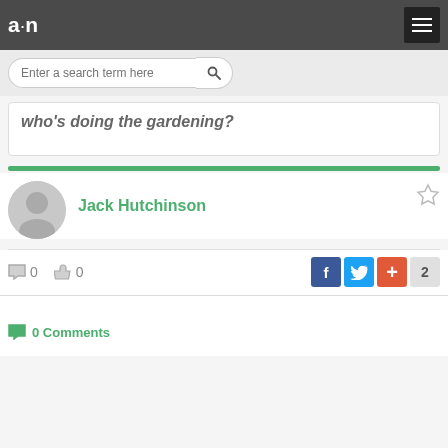a·n
Enter a search term here
who's doing the gardening?
Jack Hutchinson
0 comments, 0 likes
0 Comments